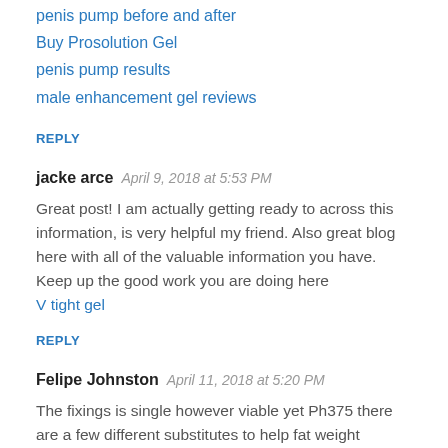penis pump before and after
Buy Prosolution Gel
penis pump results
male enhancement gel reviews
REPLY
jacke arce   April 9, 2018 at 5:53 PM
Great post! I am actually getting ready to across this information, is very helpful my friend. Also great blog here with all of the valuable information you have. Keep up the good work you are doing here V tight gel
REPLY
Felipe Johnston   April 11, 2018 at 5:20 PM
The fixings is single however viable yet Ph375 there are a few different substitutes to help fat weight reduction framework without harming your body in any negative way. Ph.375 Ph375